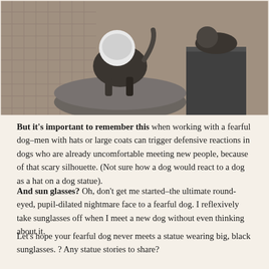[Figure (photo): Outdoor photo of a dog statue (bronze or dark metal) on a circular stone pedestal, with cobblestone pavement in background. The statue depicts a large dog, with another animal figure visible on a rectangular plinth to the right.]
But it's important to remember this when working with a fearful dog–men with hats or large coats can trigger defensive reactions in dogs who are already uncomfortable meeting new people, because of that scary silhouette. (Not sure how a dog would react to a dog as a hat on a dog statue).
And sun glasses? Oh, don't get me started–the ultimate round-eyed, pupil-dilated nightmare face to a fearful dog. I reflexively take sunglasses off when I meet a new dog without even thinking about it.
Let's hope your fearful dog never meets a statue wearing big, black sunglasses. ? Any statue stories to share?
Meanwhile, back on the farm: Finally a break in the hot, humid weather, at least for a day or two. Whew. I've been walking and working Maggie early in the morning and it still felt just as hot outside. Like a group of friends...